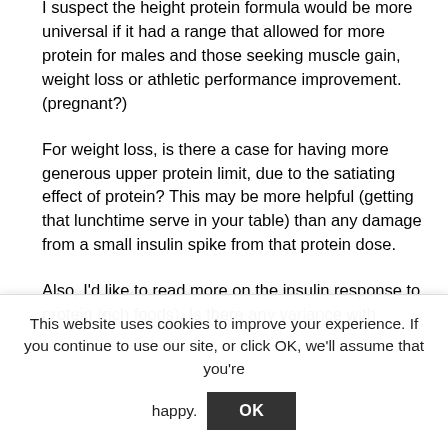I suspect the height protein formula would be more universal if it had a range that allowed for more protein for males and those seeking muscle gain, weight loss or athletic performance improvement. (pregnant?)
For weight loss, is there a case for having more generous upper protein limit, due to the satiating effect of protein? This may be more helpful (getting that lunchtime serve in your table) than any damage from a small insulin spike from that protein dose.
Also, I'd like to read more on the insulin response to protein (rich foods). Is there any variance with
This website uses cookies to improve your experience. If you continue to use our site, or click OK, we'll assume that you're happy.